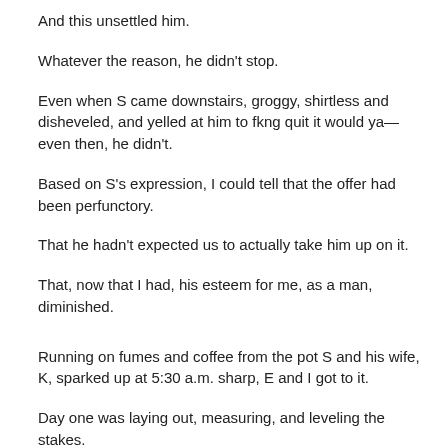And this unsettled him.
Whatever the reason, he didn't stop.
Even when S came downstairs, groggy, shirtless and disheveled, and yelled at him to fkng quit it would ya—even then, he didn't.
Based on S's expression, I could tell that the offer had been perfunctory.
That he hadn't expected us to actually take him up on it.
That, now that I had, his esteem for me, as a man, diminished.
Running on fumes and coffee from the pot S and his wife, K, sparked up at 5:30 a.m. sharp, E and I got to it.
Day one was laying out, measuring, and leveling the stakes.
Thirty on each side, at 5' increments, level and 30' from the one across from it.